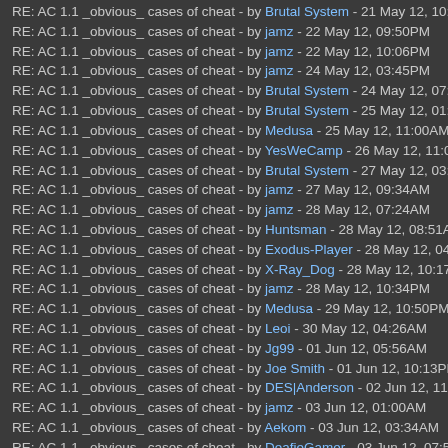RE: AC 1.1 _obvious_ cases of cheat - by Brutal System - 21 May 12, 10:13PM
RE: AC 1.1 _obvious_ cases of cheat - by jamz - 22 May 12, 09:50PM
RE: AC 1.1 _obvious_ cases of cheat - by jamz - 22 May 12, 10:06PM
RE: AC 1.1 _obvious_ cases of cheat - by jamz - 24 May 12, 03:45PM
RE: AC 1.1 _obvious_ cases of cheat - by Brutal System - 24 May 12, 07:41PM
RE: AC 1.1 _obvious_ cases of cheat - by Brutal System - 25 May 12, 01:40AM
RE: AC 1.1 _obvious_ cases of cheat - by Medusa - 25 May 12, 11:00AM
RE: AC 1.1 _obvious_ cases of cheat - by YesWeCamp - 26 May 12, 11:00PM
RE: AC 1.1 _obvious_ cases of cheat - by Brutal System - 27 May 12, 03:29AM
RE: AC 1.1 _obvious_ cases of cheat - by jamz - 27 May 12, 09:34AM
RE: AC 1.1 _obvious_ cases of cheat - by jamz - 28 May 12, 07:24AM
RE: AC 1.1 _obvious_ cases of cheat - by Huntsman - 28 May 12, 08:51AM
RE: AC 1.1 _obvious_ cases of cheat - by Exodus-Player - 28 May 12, 04:55PM
RE: AC 1.1 _obvious_ cases of cheat - by X-Ray_Dog - 28 May 12, 10:17PM
RE: AC 1.1 _obvious_ cases of cheat - by jamz - 28 May 12, 10:34PM
RE: AC 1.1 _obvious_ cases of cheat - by Medusa - 29 May 12, 10:50PM
RE: AC 1.1 _obvious_ cases of cheat - by Leoi - 30 May 12, 04:26AM
RE: AC 1.1 _obvious_ cases of cheat - by Jg99 - 01 Jun 12, 05:56AM
RE: AC 1.1 _obvious_ cases of cheat - by Joe Smith - 01 Jun 12, 10:13PM
RE: AC 1.1 _obvious_ cases of cheat - by DES|Anderson - 02 Jun 12, 11:38AM
RE: AC 1.1 _obvious_ cases of cheat - by jamz - 03 Jun 12, 01:00AM
RE: AC 1.1 _obvious_ cases of cheat - by Aekom - 03 Jun 12, 03:34AM
RE: AC 1.1 _obvious_ cases of cheat - by DeafieGamer - 03 Jun 12, 07:59AM
RE: AC 1.1 _obvious_ cases of cheat - by jamz - 03 Jun 12, 09:41AM
RE: AC 1.1 _obvious_ cases of cheat - by jamz - 03 Jun 12, 02:44PM